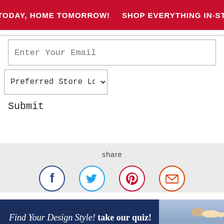[Figure (infographic): Red promotional banner: HERE TODAY, HOME TOMORROW! with delivery truck icon, SHOP EVERYTHING IN-STOCK with arrow]
Enter Your Email
Preferred Store Loca ▾
Submit
share
[Figure (infographic): Four social sharing icons in circles: Facebook (dark blue), Twitter (light blue), Pinterest (red), Email/envelope (red-orange)]
[Figure (infographic): Dark navy banner: Find Your Design Style! take our quiz! with photo of people on right side]
ADD TO CART